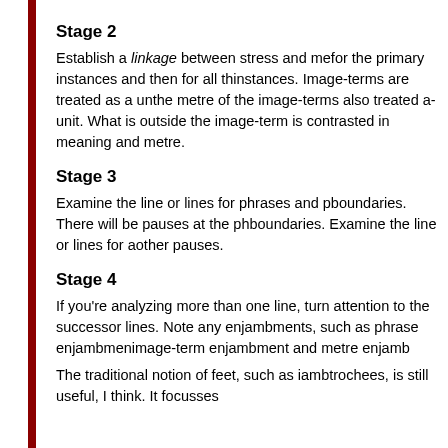Stage 2
Establish a linkage between stress and me- for the primary instances and then for all th- instances. Image-terms are treated as a un- the metre of the image-terms also treated a- unit. What is outside the image-term is contrasted in meaning and metre.
Stage 3
Examine the line or lines for phrases and p- boundaries. There will be pauses at the ph- boundaries. Examine the line or lines for a- other pauses.
Stage 4
If you're analyzing more than one line, turn attention to the successor lines. Note any enjambments, such as phrase enjambmen- image-term enjambment and metre enjamb-
The traditional notion of feet, such as iamb- trochees, is still useful, I think. It focusses